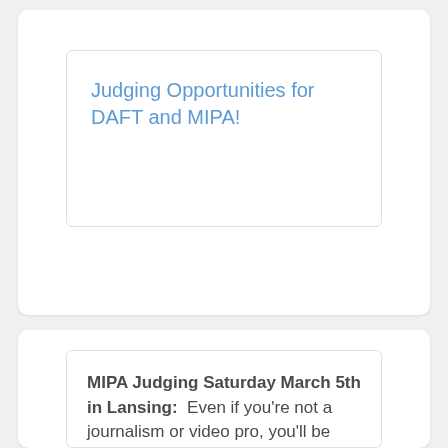Judging Opportunities for DAFT and MIPA!
MIPA Judging Saturday March 5th in Lansing:  Even if you're not a journalism or video pro, you'll be paired with an experienced judge. Judging Day is a great opportunity to see some of the amazing journalism that students across Michigan are producing for their newspapers, yearbooks, broadcast programs and news websites. You'll leave inspired